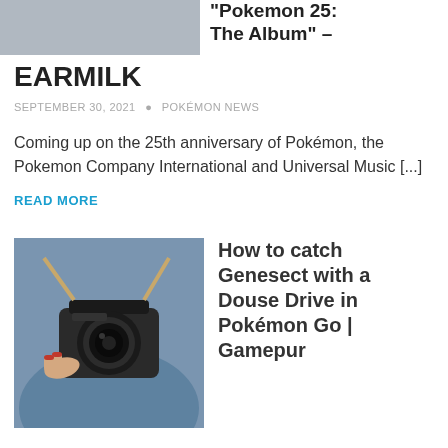[Figure (photo): Partial image visible at top left, appears to be a grey/blue toned photo crop]
"Pokemon 25: The Album" – EARMILK
SEPTEMBER 30, 2021 · POKÉMON NEWS
Coming up on the 25th anniversary of Pokémon, the Pokemon Company International and Universal Music [...]
READ MORE
[Figure (photo): Person holding a Zenit camera with red nail polish, wearing blue clothing, camera strap visible]
How to catch Genesect with a Douse Drive in Pokémon Go | Gamepur